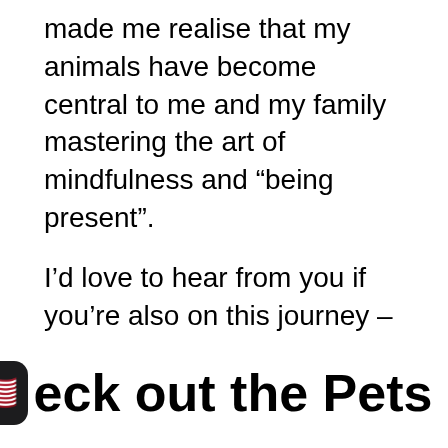made me realise that my animals have become central to me and my family mastering the art of mindfulness and “being present”.
I’d love to hear from you if you’re also on this journey – and in the meantime, I’m here to provide helpful information for dog owners, cat owners and more on how to take care of your wonderful family.
🇺🇸eck out the Pets &